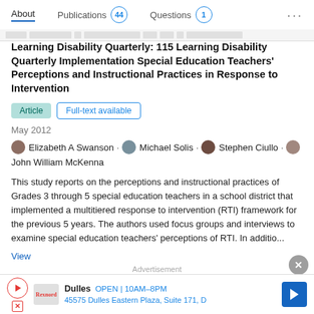About  Publications 44  Questions 1  ...
Learning Disability Quarterly: 115 Learning Disability Quarterly Implementation Special Education Teachers' Perceptions and Instructional Practices in Response to Intervention
Article  Full-text available
May 2012
Elizabeth A Swanson · Michael Solis · Stephen Ciullo · John William McKenna
This study reports on the perceptions and instructional practices of Grades 3 through 5 special education teachers in a school district that implemented a multitiered response to intervention (RTI) framework for the previous 5 years. The authors used focus groups and interviews to examine special education teachers' perceptions of RTI. In additio...
View
Advertisement
Dulles  OPEN | 10AM–8PM  45575 Dulles Eastern Plaza, Suite 171, D